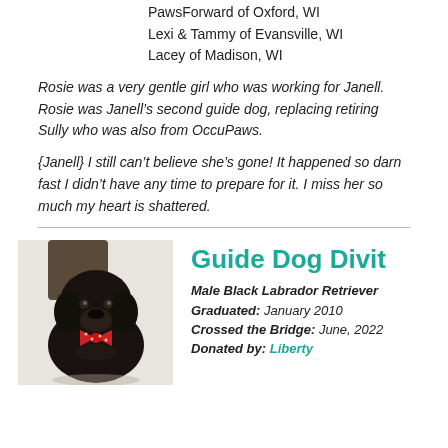PawsForward of Oxford, WI
Lexi & Tammy of Evansville, WI
Lacey of Madison, WI
Rosie was a very gentle girl who was working for Janell. Rosie was Janell’s second guide dog, replacing retiring Sully who was also from OccuPaws.
{Janell} I still can’t believe she’s gone! It happened so darn fast I didn’t have any time to prepare for it. I miss her so much my heart is shattered.
[Figure (photo): A black Labrador Retriever puppy wearing a red polka-dot bow tie, sitting and looking at the camera against a white background.]
Guide Dog Divit
Male Black Labrador Retriever
Graduated: January 2010
Crossed the Bridge: June, 2022
Donated by: Liberty